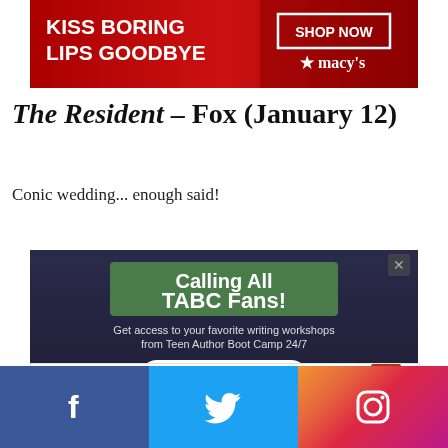[Figure (screenshot): Macy's advertisement banner: 'KISS BORING LIPS GOODBYE' with SHOP NOW button and Macy's star logo, red background with woman's lips.]
The Resident – Fox (January 12)
Conic wedding... enough said!
[Figure (screenshot): Advertisement for Teen Author Boot Camp: 'Calling All TABC Fans! Get access to your favorite writing workshops from Teen Author Boot Camp 24/7' with Learn More button and CLOSE bar.]
[Figure (screenshot): MAC Cosmetics advertisement with colorful lipsticks and SHOP NOW button.]
[Figure (screenshot): Social media footer bar with Facebook, Twitter, and Instagram icons.]